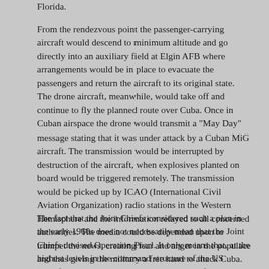Florida.
From the rendezvous point the passenger-carrying aircraft would descend to minimum altitude and go directly into an auxiliary field at Elgin AFB where arrangements would be in place to evacuate the passengers and return the aircraft to its original state. The drone aircraft, meanwhile, would take off and continue to fly the planned route over Cuba. Once in Cuban airspace the drone would transmit a "May Day" message stating that it was under attack by a Cuban MiG aircraft. The transmission would be interrupted by destruction of the aircraft, when explosives planted on board would be triggered remotely. The transmission would be picked up by ICAO (International Civil Aviation Organization) radio stations in the Western Hemisphere and the information relayed to all concerned authorities. The media could be depended upon to trumpet the news, creating fear and anger in the populace and thus giving the military a free hand to attack Cuba. (Bamford 2001)
The fact that the Joint Chiefs considered such a plan in the early 1960s does not necessarily mean that the Joint Chiefs devised Operation Pearl. It only means that, at the highest levels in the command structure of the US military, such ideas have been introduced before and have found a degree of acceptance.